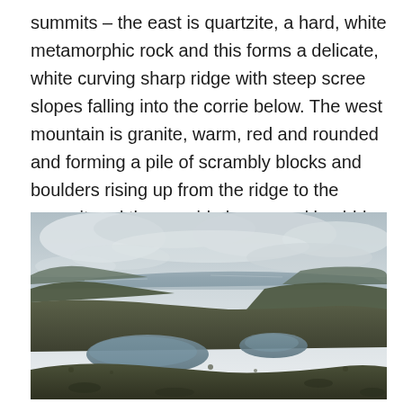summits – the east is quartzite, a hard, white metamorphic rock and this forms a delicate, white curving sharp ridge with steep scree slopes falling into the corrie below. The west mountain is granite, warm, red and rounded and forming a pile of scrambly blocks and boulders rising up from the ridge to the summit and then a wide lumpy and knobbly plateau with high level lochans. It would have been tricky terrain to navigate if the cloud had come in.
[Figure (photo): A mountain landscape photograph taken from a high vantage point looking down into a valley with two lochs (small lakes) visible in the foreground, surrounded by moorland and rocky hills. In the background, a large body of water (sea loch or coastal inlet) is visible under a partly cloudy sky.]